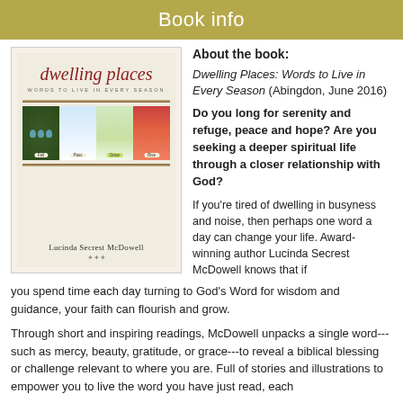Book info
About the book:
[Figure (illustration): Book cover of 'Dwelling Places: Words to Live in Every Season' by Lucinda Secrest McDowell, showing the title in script lettering with four seasonal nature images (nest with eggs, winter trees, spring plant, fall berries).]
Dwelling Places: Words to Live in Every Season (Abingdon, June 2016)
Do you long for serenity and refuge, peace and hope? Are you seeking a deeper spiritual life through a closer relationship with God?
If you're tired of dwelling in busyness and noise, then perhaps one word a day can change your life. Award-winning author Lucinda Secrest McDowell knows that if you spend time each day turning to God's Word for wisdom and guidance, your faith can flourish and grow.
Through short and inspiring readings, McDowell unpacks a single word---such as mercy, beauty, gratitude, or grace---to reveal a biblical blessing or challenge relevant to where you are. Full of stories and illustrations to empower you to live the word you have just read, each